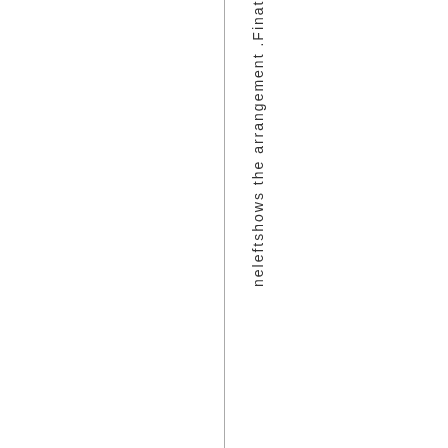neleftshows the arrangement .Finat